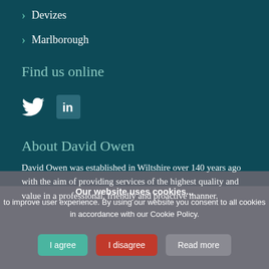Devizes
Marlborough
Find us online
[Figure (illustration): Twitter bird icon and LinkedIn icon]
About David Owen
David Owen was established in Wiltshire over 140 years ago with the aim of providing services of the highest quality and value in a professional, friendly and proactive manner.
Our website uses cookies...
to improve user experience. By using our website you consent to all cookies in accordance with our Cookie Policy.
I agree   I disagree   Read more